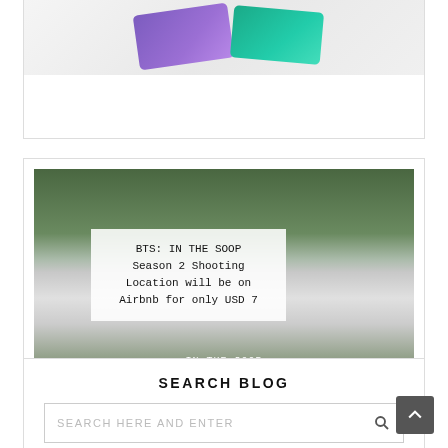[Figure (photo): Two bank/credit cards (one purple, one teal/green) placed on white fabric background]
[Figure (photo): Outdoor photo of a large white house with text overlay: 'BTS: IN THE SOOP Season 2 Shooting Location will be on Airbnb for only USD 7', a sign reading 'IN THE SOOP', Korean text, and a bottom banner 'A space created for BTS and BTS only']
SEARCH BLOG
SEARCH HERE AND ENTER